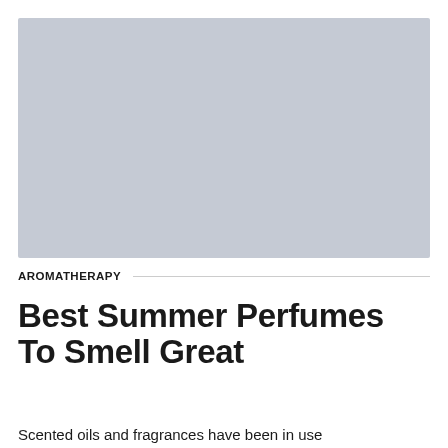[Figure (photo): A grey placeholder image rectangle representing a photo, likely related to perfumes or aromatherapy.]
AROMATHERAPY
Best Summer Perfumes To Smell Great
Scented oils and fragrances have been in use